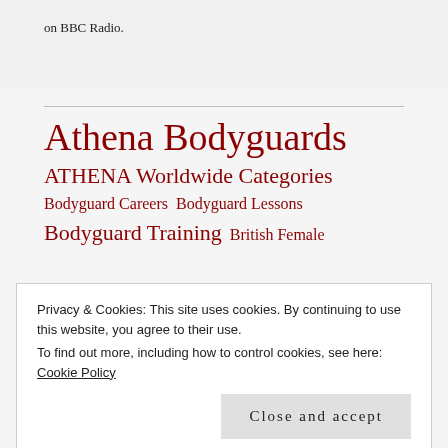on BBC Radio.
Athena Bodyguards
ATHENA Worldwide Categories
Bodyguard Careers  Bodyguard Lessons
Bodyguard Training  British Female
Privacy & Cookies: This site uses cookies. By continuing to use this website, you agree to their use.
To find out more, including how to control cookies, see here: Cookie Policy
Close and accept
bodyguards